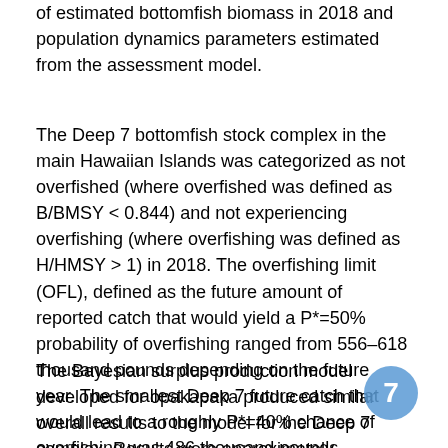of estimated bottomfish biomass in 2018 and population dynamics parameters estimated from the assessment model.
The Deep 7 bottomfish stock complex in the main Hawaiian Islands was categorized as not overfished (where overfished was defined as B/BMSY < 0.844) and not experiencing overfishing (where overfishing was defined as H/HMSY > 1) in 2018. The overfishing limit (OFL), defined as the future amount of reported catch that would yield a P*=50% probability of overfishing ranged from 556–618 thousand pounds depending on the future year. The smallest Deep 7 future catch that would lead to a roughly P*=40% chance of overfishing was 486 thousand pounds.
The Bayesian surplus production model developed for opakapaka produced similar overall results to the model for the Deep 7 complex. Results were approximately proportional to the corresponding value in the Deep 7